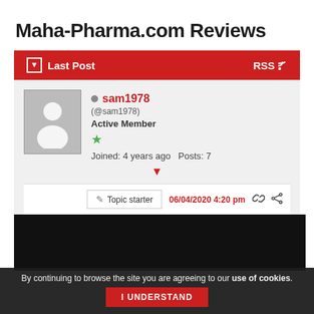Maha-Pharma.com Reviews
Last Post   RSS
sam1978 (@sam1978) Active Member Joined: 4 years ago  Posts: 7
Topic starter  06/04/2020 4:20 pm
By continuing to browse the site you are agreeing to our use of cookies.
I UNDERSTAND